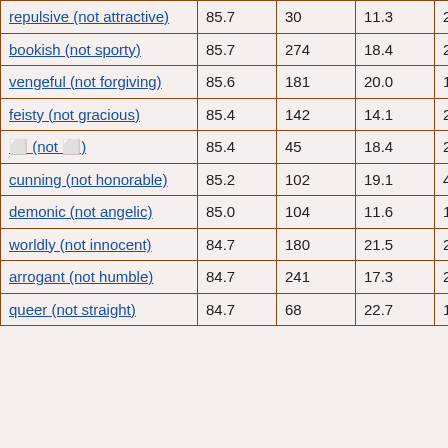| repulsive (not attractive) | 85.7 | 30 | 11.3 | 27 |
| bookish (not sporty) | 85.7 | 274 | 18.4 | 22 |
| vengeful (not forgiving) | 85.6 | 181 | 20.0 | 18 |
| feisty (not gracious) | 85.4 | 142 | 14.1 | 22 |
| 🔲 (not 🔲) | 85.4 | 45 | 18.4 | 26 |
| cunning (not honorable) | 85.2 | 102 | 19.1 | 47 |
| demonic (not angelic) | 85.0 | 104 | 11.6 | 13 |
| worldly (not innocent) | 84.7 | 180 | 21.5 | 29 |
| arrogant (not humble) | 84.7 | 241 | 17.3 | 20 |
| queer (not straight) | 84.7 | 68 | 22.7 | 18 |